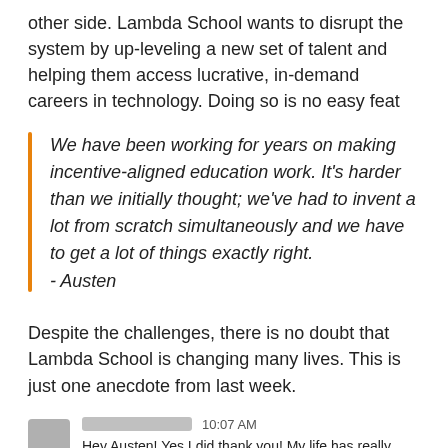other side. Lambda School wants to disrupt the system by up-leveling a new set of talent and helping them access lucrative, in-demand careers in technology. Doing so is no easy feat
We have been working for years on making incentive-aligned education work. It's harder than we initially thought; we've had to invent a lot from scratch simultaneously and we have to get a lot of things exactly right.
- Austen
Despite the challenges, there is no doubt that Lambda School is changing many lives. This is just one anecdote from last week.
[Figure (screenshot): Chat message screenshot: avatar blurred, name blurred, timestamp 10:07 AM. Message reads: Hey Austen! Yes I did thank you! My life has really changed thanks to [Lambda School - text cut off]]